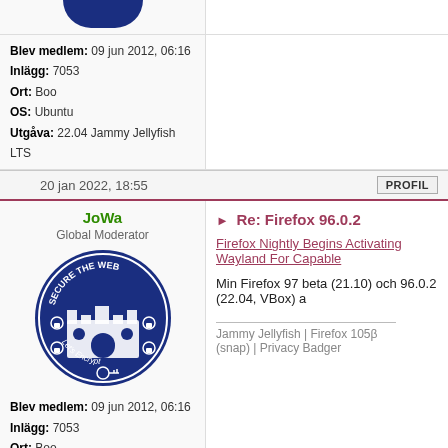Blev medlem: 09 jun 2012, 06:16
Inlägg: 7053
Ort: Boo
OS: Ubuntu
Utgåva: 22.04 Jammy Jellyfish LTS
20 jan 2022, 18:55
PROFIL
JoWa
Global Moderator
[Figure (logo): Circular blue badge with 'SECURE THE WEB' and Let's Encrypt logo, castle illustration]
Blev medlem: 09 jun 2012, 06:16
Inlägg: 7053
Ort: Boo
OS: Ubuntu
Utgåva: 22.04 Jammy Jellyfish LTS
Re: Firefox 96.0.2
Firefox Nightly Begins Activating Wayland For Capable
Min Firefox 97 beta (21.10) och 96.0.2 (22.04, VBox) a
Jammy Jellyfish | Firefox 105β (snap) | Privacy Badger
26 jan 2022, 15:15
PROFIL
JoWa
Global Moderator
Re: Firefox 96.0.3
Firefox 96.0.3: https://www.mozilla.org/firefox/96.0.3/re